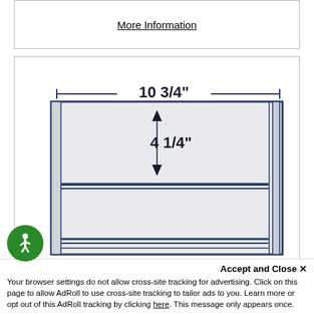More Information
[Figure (engineering-diagram): Engineering schematic showing a rectangular enclosure with dimensions labeled: 10 3/4 inch width and 4 1/4 inch height for the upper section. The diagram shows a two-drawer unit with horizontal dividers and double lines on right side indicating depth/thickness.]
Accept and Close ×
Your browser settings do not allow cross-site tracking for advertising. Click on this page to allow AdRoll to use cross-site tracking to tailor ads to you. Learn more or opt out of this AdRoll tracking by clicking here. This message only appears once.